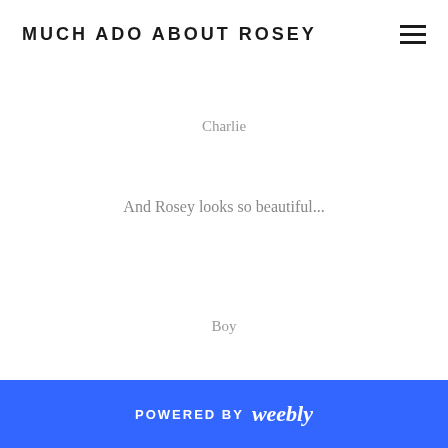MUCH ADO ABOUT ROSEY
Charlie
And Rosey looks so beautiful...
Boy
POWERED BY weebly